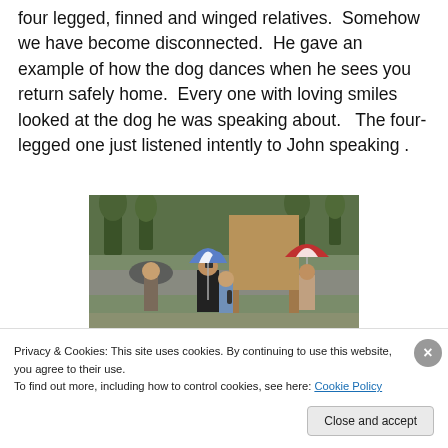four legged, finned and winged relatives.  Somehow we have become disconnected.  He gave an example of how the dog dances when he sees you return safely home.  Every one with loving smiles looked at the dog he was speaking about.   The four-legged one just listened intently to John speaking .
[Figure (photo): Outdoor scene with people standing under umbrellas (blue/white and red/white) near a wooden structure, appearing to be a rainy day event.]
Privacy & Cookies: This site uses cookies. By continuing to use this website, you agree to their use.
To find out more, including how to control cookies, see here: Cookie Policy